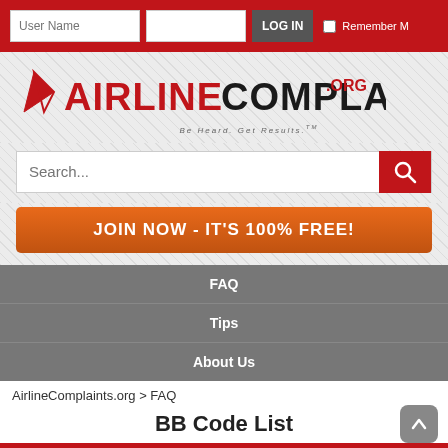User Name  LOG IN  Remember M
[Figure (logo): AirlineComplaints.org logo with red triangle/arrow icon and tagline 'Be Heard. Get Results.']
Search...
JOIN NOW - IT'S 100% FREE!
FAQ
Tips
About Us
AirlineComplaints.org > FAQ
BB Code List
BB Code